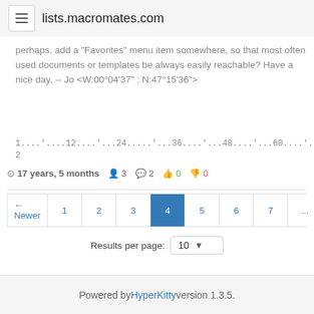lists.macromates.com
perhaps, add a "Favorites" menu item somewhere, so that most often used documents or templates be always easily reachable? Have a nice day, -- Jo <W:00°04'37" ; N:47°15'36">
1....'....12....'...24.....'...36....'...48....'...60....'...72
17 years, 5 months   3   2   0  0
← Newer  1  2  3  4  5  6  7  ...  12  Older →
Results per page: 10
Powered by HyperKitty version 1.3.5.